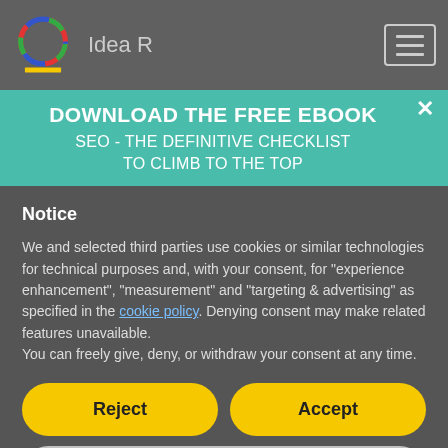Idea R
DOWNLOAD THE FREE EBOOK
SEO - THE DEFINITIVE CHECKLIST
TO CLIMB TO THE TOP
Notice
We and selected third parties use cookies or similar technologies for technical purposes and, with your consent, for "experience enhancement", "measurement" and "targeting & advertising" as specified in the cookie policy. Denying consent may make related features unavailable.
You can freely give, deny, or withdraw your consent at any time.
Reject
Accept
Learn more and customize